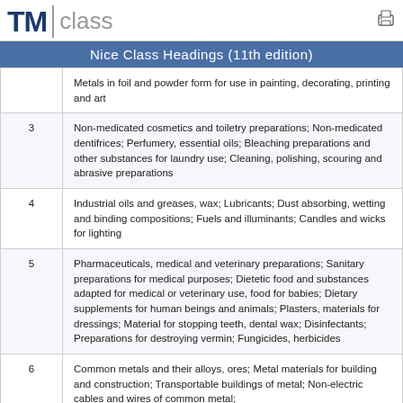TM class
Nice Class Headings (11th edition)
| Class | Description |
| --- | --- |
|  | Metals in foil and powder form for use in painting, decorating, printing and art |
| 3 | Non-medicated cosmetics and toiletry preparations; Non-medicated dentifrices; Perfumery, essential oils; Bleaching preparations and other substances for laundry use; Cleaning, polishing, scouring and abrasive preparations |
| 4 | Industrial oils and greases, wax; Lubricants; Dust absorbing, wetting and binding compositions; Fuels and illuminants; Candles and wicks for lighting |
| 5 | Pharmaceuticals, medical and veterinary preparations; Sanitary preparations for medical purposes; Dietetic food and substances adapted for medical or veterinary use, food for babies; Dietary supplements for human beings and animals; Plasters, materials for dressings; Material for stopping teeth, dental wax; Disinfectants; Preparations for destroying vermin; Fungicides, herbicides |
| 6 | Common metals and their alloys, ores; Metal materials for building and construction; Transportable buildings of metal; Non-electric cables and wires of common metal; |